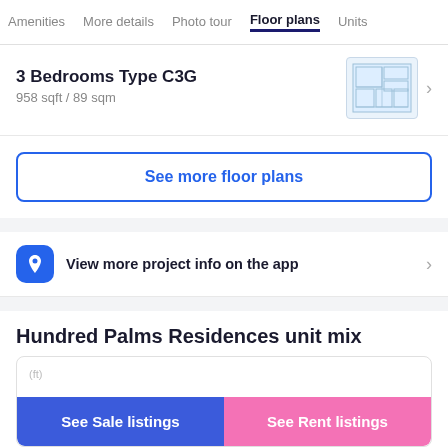Amenities  More details  Photo tour  Floor plans  Units
3 Bedrooms Type C3G
958 sqft / 89 sqm
[Figure (illustration): Small floor plan thumbnail image of a 3-bedroom unit]
See more floor plans
View more project info on the app
Hundred Palms Residences unit mix
See Sale listings
See Rent listings